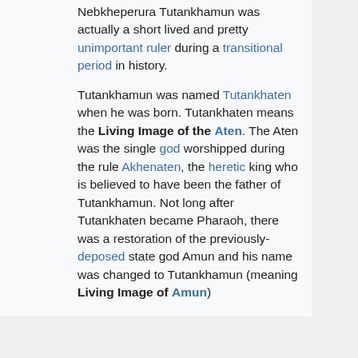Nebkheperura Tutankhamun was actually a short lived and pretty unimportant ruler during a transitional period in history.
Tutankhamun was named Tutankhaten when he was born. Tutankhaten means the Living Image of the Aten. The Aten was the single god worshipped during the rule Akhenaten, the heretic king who is believed to have been the father of Tutankhamun. Not long after Tutankhaten became Pharaoh, there was a restoration of the previously-deposed state god Amun and his name was changed to Tutankhamun (meaning Living Image of Amun)